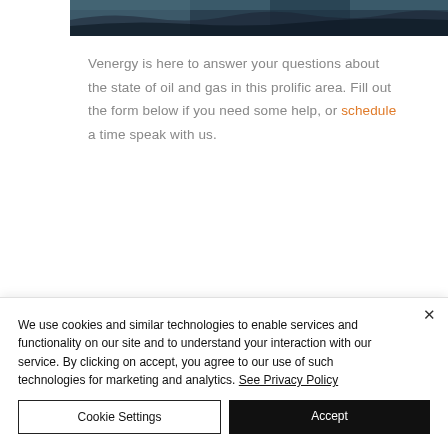[Figure (photo): Partial hero image of an oil/gas or industrial scene, dark tones with water and silhouette]
Venergy is here to answer your questions about the state of oil and gas in this prolific area. Fill out the form below if you need some help, or schedule a time speak with us.
We use cookies and similar technologies to enable services and functionality on our site and to understand your interaction with our service. By clicking on accept, you agree to our use of such technologies for marketing and analytics. See Privacy Policy
Cookie Settings
Accept